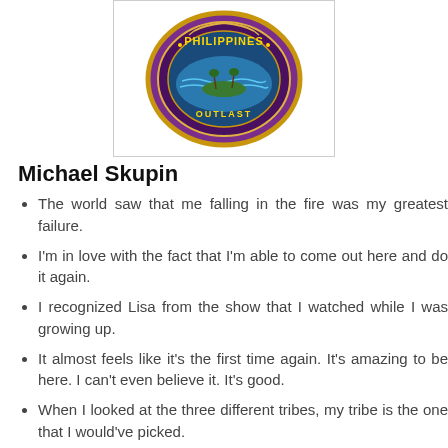[Figure (logo): Circular logo/emblem with 'Philippines' text and 'Outlast' text, decorative tribal-style design in purple and gold colors]
Michael Skupin
The world saw that me falling in the fire was my greatest failure.
I'm in love with the fact that I'm able to come out here and do it again.
I recognized Lisa from the show that I watched while I was growing up.
It almost feels like it's the first time again. It's amazing to be here. I can't even believe it. It's good.
When I looked at the three different tribes, my tribe is the one that I would've picked.
There is a lot of people that said maybe you should never play again because now you're opening yourself up to that the legend of what I was to what I am today. So it's a huge risk but it's